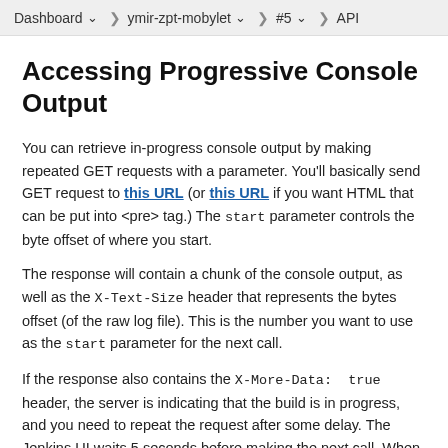Dashboard > ymir-zpt-mobylet > #5 > API
Accessing Progressive Console Output
You can retrieve in-progress console output by making repeated GET requests with a parameter. You'll basically send GET request to this URL (or this URL if you want HTML that can be put into <pre> tag.) The start parameter controls the byte offset of where you start.
The response will contain a chunk of the console output, as well as the X-Text-Size header that represents the bytes offset (of the raw log file). This is the number you want to use as the start parameter for the next call.
If the response also contains the X-More-Data: true header, the server is indicating that the build is in progress, and you need to repeat the request after some delay. The Jenkins UI waits 5 seconds before making the next call. When this header is not present, you know that you've retrieved all the data and